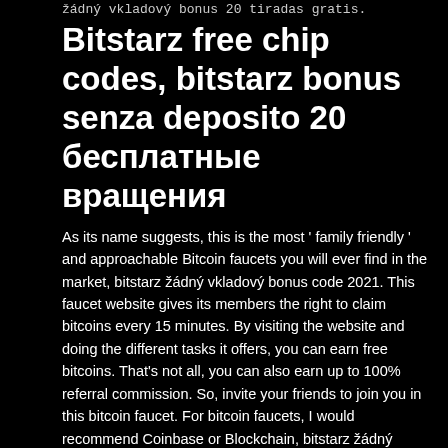žádný vkladový bonus 20 tiradas gratis.
Bitstarz free chip codes, bitstarz bonus senza deposito 20 бесплатные вращения
As its name suggests, this is the most 'family friendly ' and approachable Bitcoin faucets you will ever find in the market, bitstarz žádný vkladový bonus code 2021. This faucet website gives its members the right to claim bitcoins every 15 minutes. By visiting the website and doing the different tasks it offers, you can earn free bitcoins. That's not all, you can also earn up to 100% referral commission. So, invite your friends to join you in this bitcoin faucet. For bitcoin faucets, I would recommend Coinbase or Blockchain, bitstarz žádný vkladový bonus code 2021.